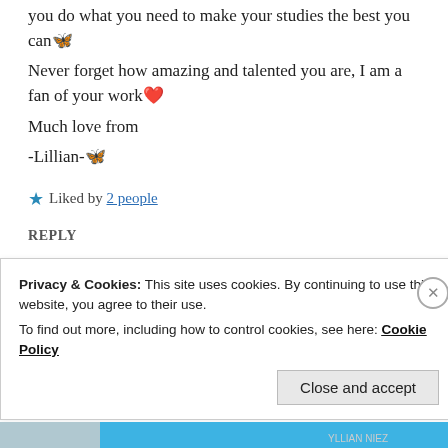you do what you need to make your studies the best you can 🦋
Never forget how amazing and talented you are, I am a fan of your work ❤️
Much love from
-Lillian-🦋
★ Liked by 2 people
REPLY
ZEALOUS HOMO SAPIENS
Privacy & Cookies: This site uses cookies. By continuing to use this website, you agree to their use. To find out more, including how to control cookies, see here: Cookie Policy
Close and accept